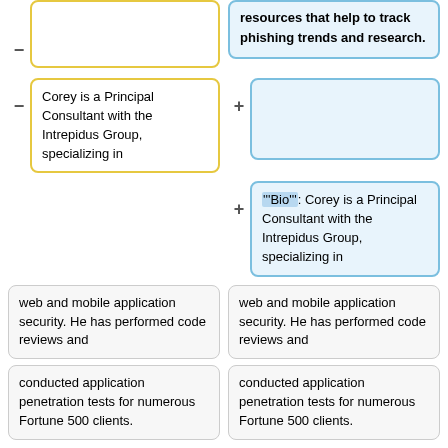resources that help to track phishing trends and research.
Corey is a Principal Consultant with the Intrepidus Group, specializing in
"""Bio""": Corey is a Principal Consultant with the Intrepidus Group, specializing in
web and mobile application security. He has performed code reviews and
web and mobile application security. He has performed code reviews and
conducted application penetration tests for numerous Fortune 500 clients.
conducted application penetration tests for numerous Fortune 500 clients.
Line 122:
Line 143:
Corey has an undergraduate degree from Boston University.
Corey has an undergraduate degree from Boston University.